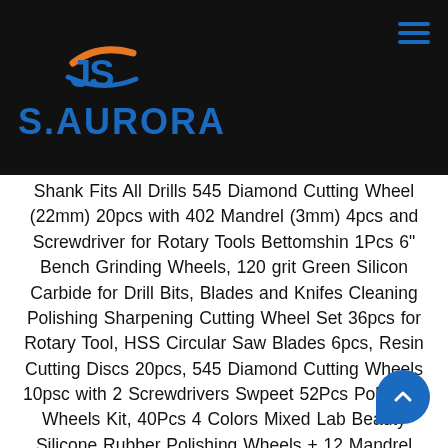[Figure (logo): S.AURORA logo with stylized JS icon in blue and orange on black header background]
Shank Fits All Drills 545 Diamond Cutting Wheel (22mm) 20pcs with 402 Mandrel (3mm) 4pcs and Screwdriver for Rotary Tools Bettomshin 1Pcs 6" Bench Grinding Wheels, 120 grit Green Silicon Carbide for Drill Bits, Blades and Knifes Cleaning Polishing Sharpening Cutting Wheel Set 36pcs for Rotary Tool, HSS Circular Saw Blades 6pcs, Resin Cutting Discs 20pcs, 545 Diamond Cutting Wheels 10psc with 2 Screwdrivers Swpeet 52Pcs Polishing Wheels Kit, 40Pcs 4 Colors Mixed Lab Beauty Silicone Rubber Polishing Wheels + 12 Mandrel Shank Perfect for Rotary Hand Pieces Rotary Tool Swpeet 46Pcs Polishing Wheels Kit, 40Pcs 4 Colors Mixed Lab Beauty Silicone Rubber Polishing Wheels and Polishing Particle + 6 Mandrel Shank Perfect for Rotary Hand Pieces Rotary Tool Drill Doctor X2 Drill Bit and Knife Sharpener With